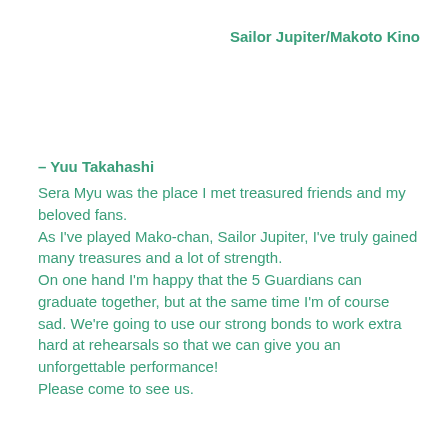Sailor Jupiter/Makoto Kino
– Yuu Takahashi
Sera Myu was the place I met treasured friends and my beloved fans.
As I've played Mako-chan, Sailor Jupiter, I've truly gained many treasures and a lot of strength.
On one hand I'm happy that the 5 Guardians can graduate together, but at the same time I'm of course sad. We're going to use our strong bonds to work extra hard at rehearsals so that we can give you an unforgettable performance!
Please come to see us.